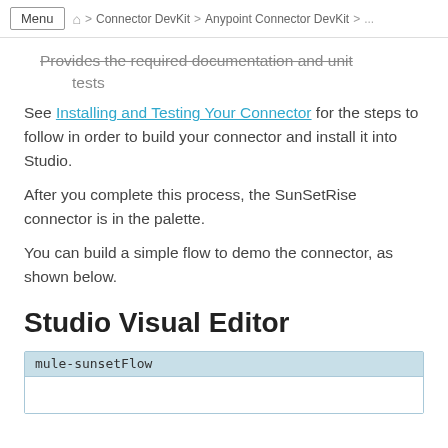Menu  🏠 > Connector DevKit > Anypoint Connector DevKit > ...
Provides the required documentation and unit tests
See Installing and Testing Your Connector for the steps to follow in order to build your connector and install it into Studio.
After you complete this process, the SunSetRise connector is in the palette.
You can build a simple flow to demo the connector, as shown below.
Studio Visual Editor
[Figure (screenshot): Screenshot showing mule-sunsetFlow panel in Studio Visual Editor]